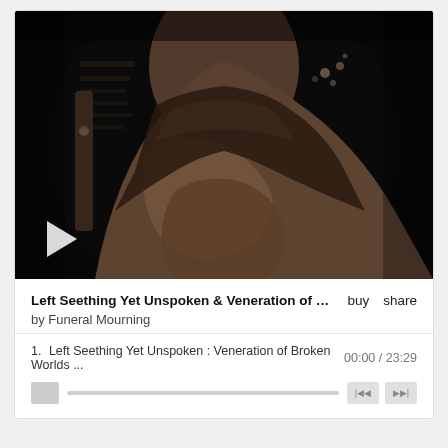[Figure (photo): Dark album art showing a figure with a guitar, high-contrast black and brown/tan tones, with a play button overlay in the bottom left]
Left Seething Yet Unspoken & Veneration of Br...
by Funeral Mourning
1.  Left Seething Yet Unspoken : Veneration of Broken Worlds ...  00:00 / 23:29